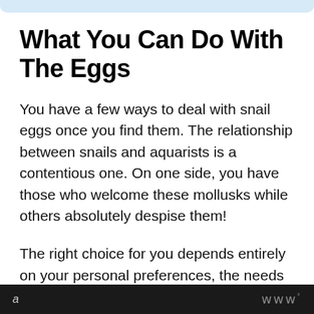What You Can Do With The Eggs
You have a few ways to deal with snail eggs once you find them. The relationship between snails and aquarists is a contentious one. On one side, you have those who welcome these mollusks while others absolutely despise them!
The right choice for you depends entirely on your personal preferences, the needs of your tank, and your aquarium inhabitants' safety. Here are
a  www°